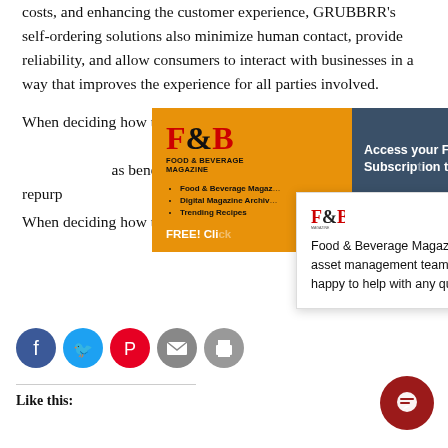costs, and enhancing the customer experience, GRUBBRR’s self-ordering solutions also minimize human contact, provide reliability, and allow consumers to interact with businesses in a way that improves the experience for all parties involved.
When deciding how to proceed during The Great Resignation, businesses looking to implement self-service technology can use the fact that it benefits both operators and consumers. It can repurpose existing labor for other functions, which helps reduce operating costs, and create upsell opportunities for items customers might not have functioned without a recommendation.
[Figure (screenshot): Food & Beverage Magazine dropdown popup menu with logo, links: Food & Beverage Magazine, Digital Magazine Archives, Trending Recipes, and FREE click CTA button]
[Figure (screenshot): Access your FREE Subscription to the Go- popup panel with navy background and close button]
[Figure (screenshot): Food & Beverage Magazine asset management team popup: 'Food & Beverage Magazine’s asset management team is happy to help with any questions']
Like this: